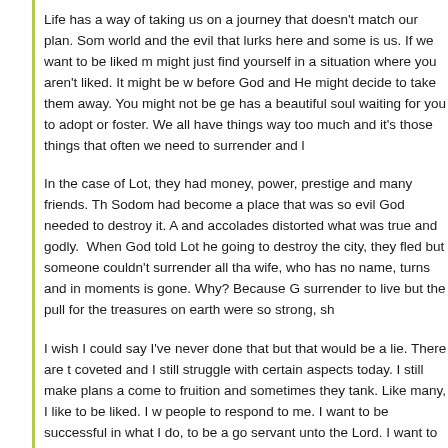Life has a way of taking us on a journey that doesn't match our plan. Some is the world and the evil that lurks here and some is us. If we want to be liked more, you might just find yourself in a situation where you aren't liked. It might be wrong before God and He might decide to take them away. You might not be getting... has a beautiful soul waiting for you to adopt or foster. We all have things we love way too much and it's those things that often we need to surrender and let go.
In the case of Lot, they had money, power, prestige and many friends. The city of Sodom had become a place that was so evil God needed to destroy it. All the wealth and accolades distorted what was true and godly. When God told Lot he was going to destroy the city, they fled but someone couldn't surrender all that. Lot's wife, who has no name, turns and in moments is gone. Why? Because God said surrender to live but the pull for the treasures on earth were so strong, sh...
I wish I could say I've never done that but that would be a lie. There are things I coveted and I still struggle with certain aspects today. I still make plans and hope they come to fruition and sometimes they tank. Like many, I like to be liked. I want people to respond to me. I want to be successful in what I do, to be a good and faithful servant unto the Lord. I want to give back without getting and I want to be... These are good as long as they don't become the ONLY direction of my heart.
In the last months, God has given me a glimpse into two important directions: to be unseen and be right with that and the other is to let Him guide me with His staff and lamb and to surrender every desire at His feet. It has been powerful in m...